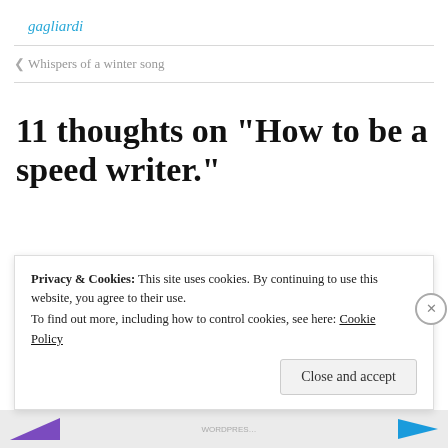gagliardi
< Whispers of a winter song
11 thoughts on “How to be a speed writer.”
Privacy & Cookies: This site uses cookies. By continuing to use this website, you agree to their use.
To find out more, including how to control cookies, see here: Cookie Policy
Close and accept